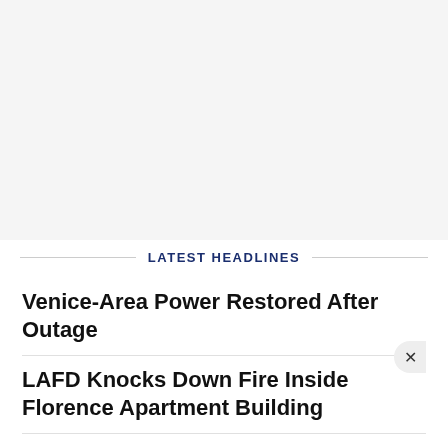LATEST HEADLINES
Venice-Area Power Restored After Outage
LAFD Knocks Down Fire Inside Florence Apartment Building